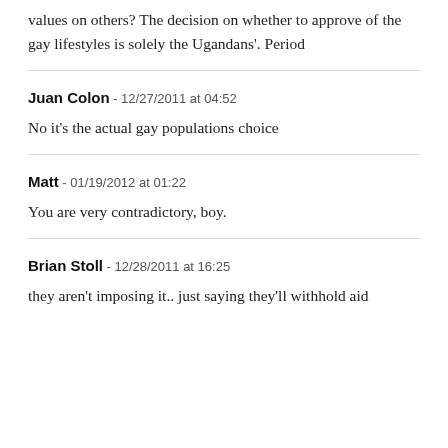values on others? The decision on whether to approve of the gay lifestyles is solely the Ugandans'. Period
Juan Colon - 12/27/2011 at 04:52
No it's the actual gay populations choice
Matt - 01/19/2012 at 01:22
You are very contradictory, boy.
Brian Stoll - 12/28/2011 at 16:25
they aren't imposing it.. just saying they'll withhold aid